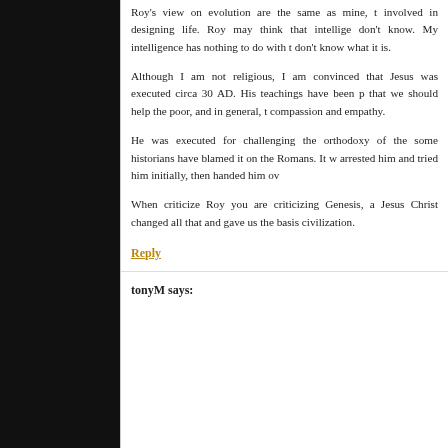Roy's view on evolution are the same as mine, th involved in designing life. Roy may think that intelligen don't know. My intelligence has nothing to do with th don't know what it is.
Although I am not religious, I am convinced that Jesus was executed circa 30 AD. His teachings have been pa that we should help the poor, and in general, to compassion and empathy.
He was executed for challenging the orthodoxy of the some historians have blamed it on the Romans. It w arrested him and tried him initially, then handed him ov
When criticize Roy you are criticizing Genesis, an Jesus Christ changed all that and gave us the basis civilization.
Reply
tonyM says: